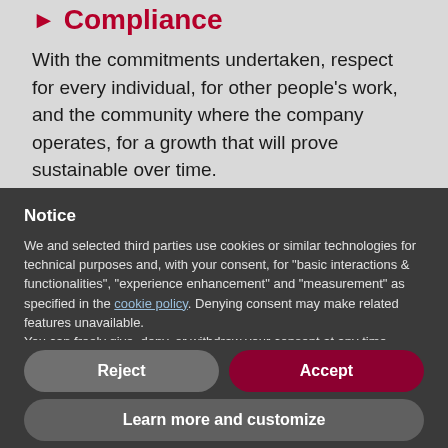Compliance
With the commitments undertaken, respect for every individual, for other people's work, and the community where the company operates, for a growth that will prove sustainable over time.
Notice
We and selected third parties use cookies or similar technologies for technical purposes and, with your consent, for "basic interactions & functionalities", "experience enhancement" and "measurement" as specified in the cookie policy. Denying consent may make related features unavailable.
You can freely give, deny, or withdraw your consent at any time.
Reject
Accept
Learn more and customize